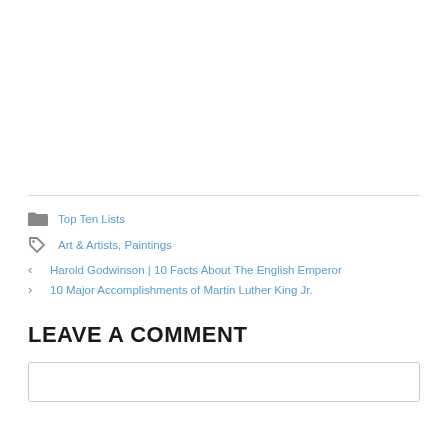Top Ten Lists
Art & Artists, Paintings
Harold Godwinson | 10 Facts About The English Emperor
10 Major Accomplishments of Martin Luther King Jr.
LEAVE A COMMENT